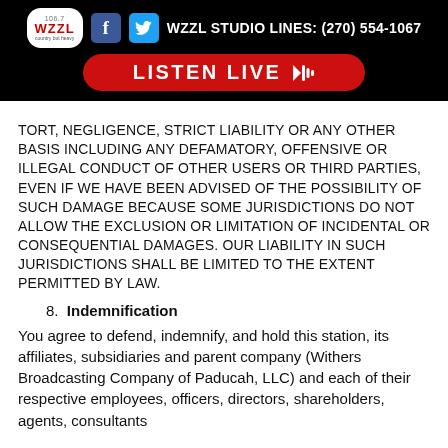WZZL STUDIO LINES: (270) 554-1067 | LISTEN LIVE
TORT, NEGLIGENCE, STRICT LIABILITY OR ANY OTHER BASIS INCLUDING ANY DEFAMATORY, OFFENSIVE OR ILLEGAL CONDUCT OF OTHER USERS OR THIRD PARTIES, EVEN IF WE HAVE BEEN ADVISED OF THE POSSIBILITY OF SUCH DAMAGE BECAUSE SOME JURISDICTIONS DO NOT ALLOW THE EXCLUSION OR LIMITATION OF INCIDENTAL OR CONSEQUENTIAL DAMAGES. OUR LIABILITY IN SUCH JURISDICTIONS SHALL BE LIMITED TO THE EXTENT PERMITTED BY LAW.
8. Indemnification
You agree to defend, indemnify, and hold this station, its affiliates, subsidiaries and parent company (Withers Broadcasting Company of Paducah, LLC) and each of their respective employees, officers, directors, shareholders, agents, consultants